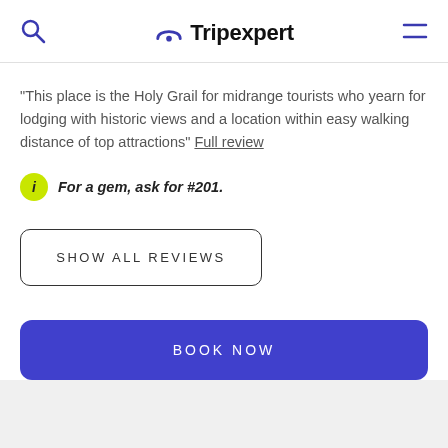Tripexpert
"This place is the Holy Grail for midrange tourists who yearn for lodging with historic views and a location within easy walking distance of top attractions" Full review
For a gem, ask for #201.
SHOW ALL REVIEWS
BOOK NOW